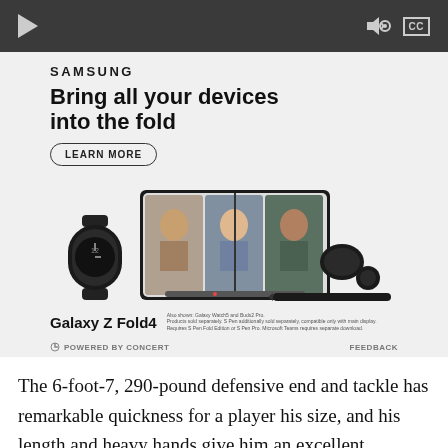[Figure (screenshot): Video player control bar with play button, volume icon, and CC button on dark gray background]
[Figure (screenshot): Samsung Galaxy Z Fold4 advertisement. Shows Samsung logo, headline 'Bring all your devices into the fold', LEARN MORE button, and product images of Galaxy Z Fold4, Galaxy Watch5, Buds2 Pro, and S Pen. Footer text: 'Also shown: Galaxy Watch5 and Buds2 Pro. Products sold separately. S Pen additionally sold separately, compatible only with main display. Requires S Pen Fold Edition or S Pen Pro. Microsoft Teams requires separate download.' Powered by Concert | FEEDBACK]
The 6-foot-7, 290-pound defensive end and tackle has remarkable quickness for a player his size, and his length and heavy hands give him an excellent foundation on which to become an outstanding player.